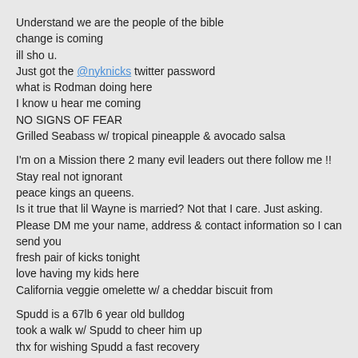Understand we are the people of the bible
change is coming
ill sho u.
Just got the @nyknicks twitter password
what is Rodman doing here
I know u hear me coming
NO SIGNS OF FEAR
Grilled Seabass w/ tropical pineapple & avocado salsa
I'm on a Mission there 2 many evil leaders out there follow me !!
Stay real not ignorant
peace kings an queens.
Is it true that lil Wayne is married? Not that I care. Just asking.
Please DM me your name, address & contact information so I can send you fresh pair of kicks tonight
love having my kids here
California veggie omelette w/ a cheddar biscuit from
Spudd is a 67lb 6 year old bulldog
took a walk w/ Spudd to cheer him up
thx for wishing Spudd a fast recovery
Blessed are those who struggle, oppression is worst than the grave.
Have you seen it?
What do u think?
www.amarestoudemire.com
AMAR'E STOUDEMIRE THANKS MADISON SQUARE GARDEN EMPLOYEE
The – Hate – U- Gave – Little – Infants –F –Everyone THUG LIFE
I just caught the meanest cramp of all time!
Chicken cutlet today w/ some pesto pasta
1st thing I did this morning was thank YHWN, then jumped in my Range